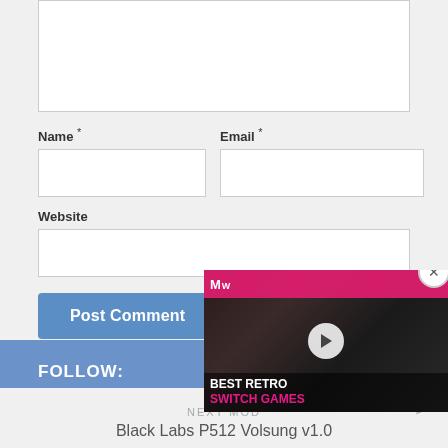[Figure (screenshot): Web form with textarea (partially visible), Name and Email input fields, Website input field, and Post Comment button]
Name *
Email *
Website
Post Comment
[Figure (screenshot): Video overlay showing MW (Melt Water) logo in pink bar, a play button, and text 'BEST RETRO SWITCH GAMES' with close button]
FOLLOW:
NEXT MOD
Black Labs P512 Volsung v1.0